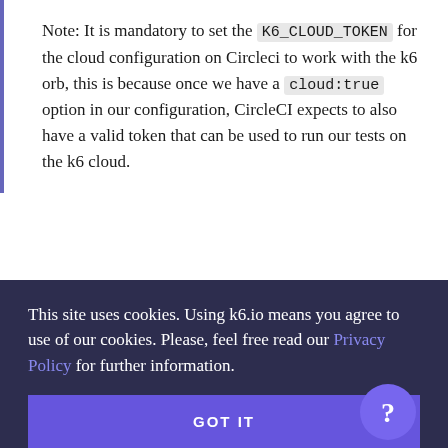Note: It is mandatory to set the K6_CLOUD_TOKEN for the cloud configuration on Circleci to work with the k6 orb, this is because once we have a cloud:true option in our configuration, CircleCI expects to also have a valid token that can be used to run our tests on the k6 cloud.
With that done, we can now go ahead and push the changes we've made in .circleci/config.yml to our GitHub repository. This subsequently triggers CircleCI to build our new pipeline using the new config file. Just keep in mind that for keeping things tidy, we've
This site uses cookies. Using k6.io means you agree to use of our cookies. Please, feel free read our Privacy Policy for further information.
GOT IT